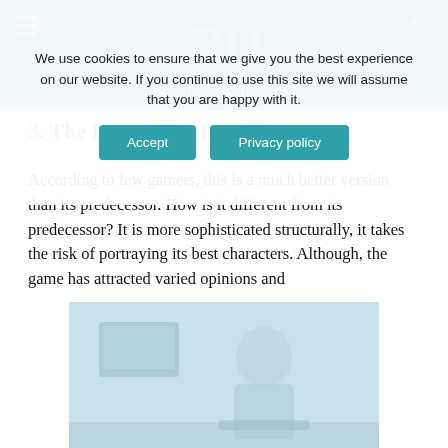Business Upside [navigation bar with logo]
We use cookies to ensure that we give you the best experience on our website. If you continue to use this site we will assume that you are happy with it.
Accept | Privacy policy
3. The Last of Us: Part II
According to few gamers, this is a much better version than its predecessor. How is it different from its predecessor? It is more sophisticated structurally, it takes the risk of portraying its best characters. Although, the game has attracted varied opinions and
[Figure (photo): Photo of a person gaming, shown in blue-tinted/washed out color, partially visible at the bottom of the page.]